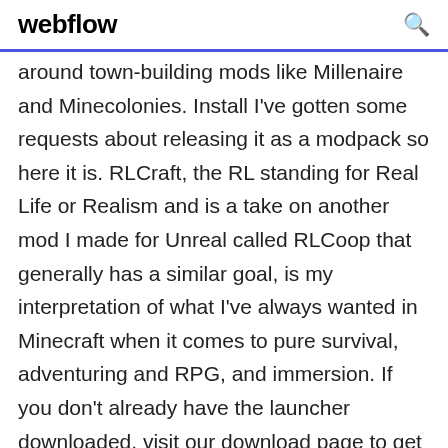webflow
around town-building mods like Millenaire and Minecolonies. Install I've gotten some requests about releasing it as a modpack so here it is. RLCraft, the RL standing for Real Life or Realism and is a take on another mod I made for Unreal called RLCoop that generally has a similar goal, is my interpretation of what I've always wanted in Minecraft when it comes to pure survival, adventuring and RPG, and immersion. If you don't already have the launcher downloaded, visit our download page to get the latest version. Step 2. Type in the modpack name (- What Is Minecraft-) or paste the following url into the search box. Step 3. Finally, 168K Downloads Updated Oct 20, 2019 Created Jul